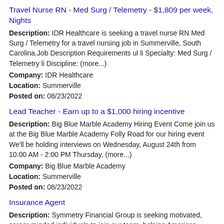Travel Nurse RN - Med Surg / Telemetry - $1,809 per week, Nights
Description: IDR Healthcare is seeking a travel nurse RN Med Surg / Telemetry for a travel nursing job in Summerville, South Carolina.Job Description Requirements ul li Specialty: Med Surg / Telemetry li Discipline: (more...)
Company: IDR Healthcare
Location: Summerville
Posted on: 08/23/2022
Lead Teacher - Earn up to a $1,000 hiring incentive
Description: Big Blue Marble Academy Hiring Event Come join us at the Big Blue Marble Academy Folly Road for our hiring event We'll be holding interviews on Wednesday, August 24th from 10:00 AM - 2:00 PM Thursday, (more...)
Company: Big Blue Marble Academy
Location: Summerville
Posted on: 08/23/2022
Insurance Agent
Description: Symmetry Financial Group is seeking motivated, career-minded individuals to join our team, helping American families protect